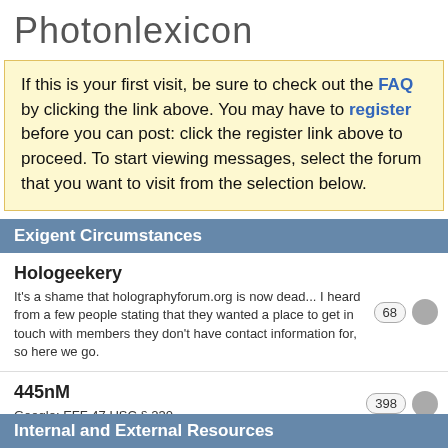Photonlexicon
If this is your first visit, be sure to check out the FAQ by clicking the link above. You may have to register before you can post: click the register link above to proceed. To start viewing messages, select the forum that you want to visit from the selection below.
Exigent Circumstances
Hologeekery
It's a shame that holographyforum.org is now dead... I heard from a few people stating that they wanted a place to get in touch with members they don't have contact information for, so here we go.
68
445nM
Google: EFF 47 USC § 230
398
Internal and External Resources